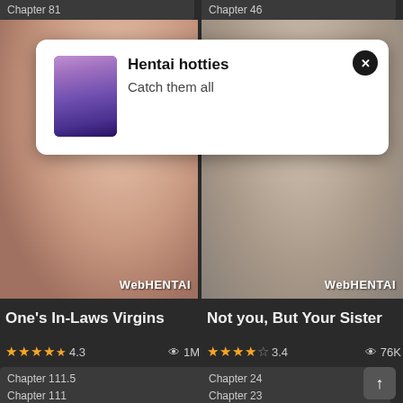Chapter 81
Chapter 46
[Figure (illustration): Anime/3D character thumbnail - purple haired girl]
[Figure (illustration): Popup notification with thumbnail and close button]
Hentai hotties
Catch them all
[Figure (illustration): Manga illustration left panel with WebHENTAI watermark]
[Figure (illustration): Manga illustration right panel with WebHENTAI watermark]
One's In-Laws Virgins
Not you, But Your Sister
★★★★½ 4.3  👁 1M
★★★★☆ 3.4  👁 76K
Chapter 111.5
Chapter 111
Chapter 24
Chapter 23